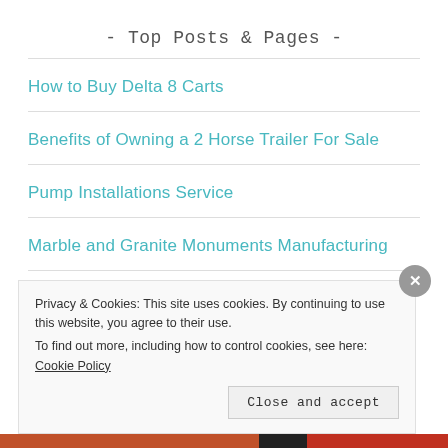- Top Posts & Pages -
How to Buy Delta 8 Carts
Benefits of Owning a 2 Horse Trailer For Sale
Pump Installations Service
Marble and Granite Monuments Manufacturing
Privacy & Cookies: This site uses cookies. By continuing to use this website, you agree to their use. To find out more, including how to control cookies, see here: Cookie Policy
Close and accept